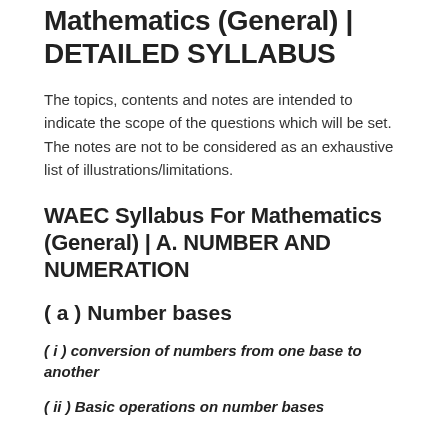Mathematics (General) | DETAILED SYLLABUS
The topics, contents and notes are intended to indicate the scope of the questions which will be set. The notes are not to be considered as an exhaustive list of illustrations/limitations.
WAEC Syllabus For Mathematics (General) | A. NUMBER AND NUMERATION
( a ) Number bases
( i ) conversion of numbers from one base to another
( ii ) Basic operations on number bases